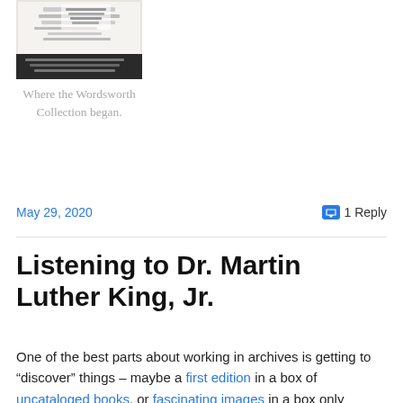[Figure (photo): A photograph of what appears to be a book or document page, likely from the Wordsworth Collection, showing text on a white background with a dark bottom portion.]
Where the Wordsworth Collection began.
May 29, 2020
1 Reply
Listening to Dr. Martin Luther King, Jr.
One of the best parts about working in archives is getting to “discover” things – maybe a first edition in a box of uncataloged books, or fascinating images in a box only